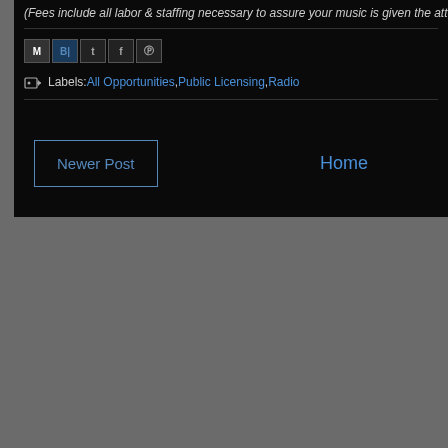(Fees include all labor & staffing necessary to assure your music is given the attention and cons…
Labels: All Opportunities, Public Licensing, Radio
Newer Post
Home